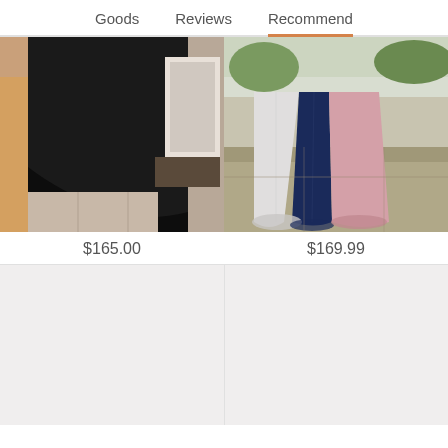Goods    Reviews    Recommend
[Figure (photo): Black mermaid style formal gown with lace train, shown from behind on a person standing indoors]
[Figure (photo): Three formal evening gowns in silver/white, navy blue, and blush pink shown from waist down, standing outdoors on stone pavement]
$165.00
$169.99
[Figure (photo): Partially visible product image placeholder, light/white background]
[Figure (photo): Partially visible product image placeholder, light/white background]